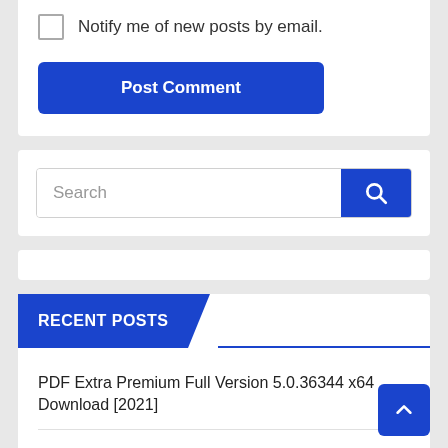Notify me of new posts by email.
Post Comment
Search
RECENT POSTS
PDF Extra Premium Full Version 5.0.36344 x64 Download [2021]
Easy Translator v14.0.0 Full Crack Free Download